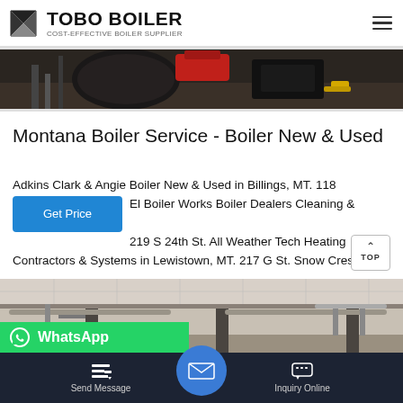TOBO BOILER - COST-EFFECTIVE BOILER SUPPLIER
[Figure (photo): Industrial boiler equipment with red and black machinery, pipes and yellow fittings in a facility]
Montana Boiler Service - Boiler New & Used
Adkins Clark & Angie Boiler New & Used in Billings, MT. 118 El Boiler Works Boiler Dealers Cleaning & Repairing 219 S 24th St. All Weather Tech Heating Contractors & Systems in Lewistown, MT. 217 G St. Snow Cres
[Figure (photo): Industrial boiler room interior with pipes on ceiling, structural columns and open space]
Send Message | Inquiry Online